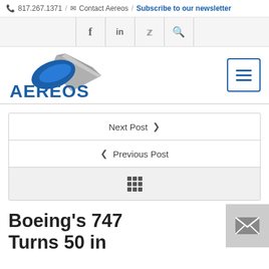817.267.1371 / Contact Aereos / Subscribe to our newsletter
[Figure (logo): Aereos company logo with stylized wing/leaf graphic and bold blue AEREOS text]
Next Post >
< Previous Post
grid icon
Boeing's 747 Turns 50 in